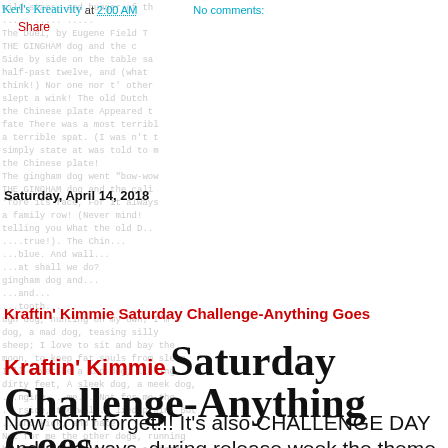Kerl's Kreativity at 2:00 AM   No comments:
Share
Saturday, April 14, 2018
Kraftin' Kimmie Saturday Challenge-Anything Goes
Kraftin' Kimmie Saturday Challenge-Anything Goes
Now don't forget!!! It's also CHALLENGE DAY and as always, during release week the theme is ANYTHING GOES!!! So create a card,